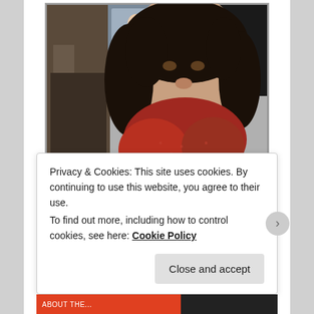[Figure (photo): Portrait photo of a woman with dark curly hair wearing a red/maroon knitted scarf and dark top, with framed artwork visible in the background. Photo has a thin border frame.]
Film, Television, Music, Art, Fashion and Sport:
Helen O'Hara, '25 years on from Thelma and Louise, it revisits for leading directors' The Do...
Privacy & Cookies: This site uses cookies. By continuing to use this website, you agree to their use. To find out more, including how to control cookies, see here: Cookie Policy